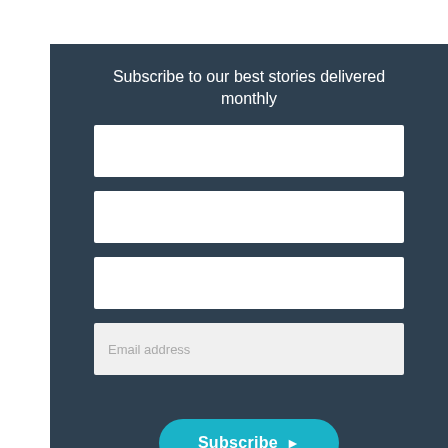Subscribe to our best stories delivered monthly
[Figure (other): Email subscription form with four input fields (three blank, one labeled 'Email address') and a teal 'Subscribe' button with a right-pointing arrow]
Email address
Subscribe ▶